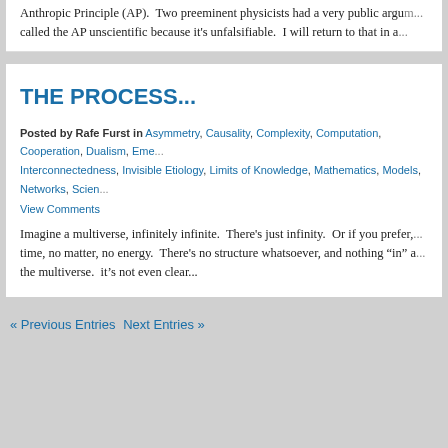Anthropic Principle (AP). Two preeminent physicists had a very public argum... called the AP unscientific because it's unfalsifiable. I will return to that in a...
THE PROCESS...
Posted by Rafe Furst in Asymmetry, Causality, Complexity, Computation, Cooperation, Dualism, Eme... Interconnectedness, Invisible Etiology, Limits of Knowledge, Mathematics, Models, Networks, Scien...
View Comments
Imagine a multiverse, infinitely infinite. There's just infinity. Or if you prefer,... time, no matter, no energy. There's no structure whatsoever, and nothing “in” a... the multiverse. it’s not even clear...
« Previous Entries Next Entries »